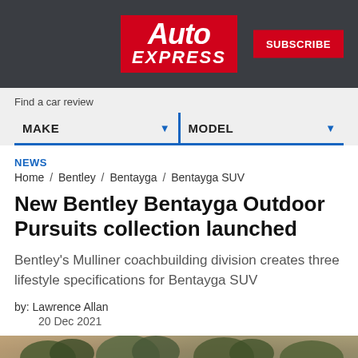Auto Express | SUBSCRIBE
Find a car review
MAKE  ▼   MODEL  ▼
NEWS
Home / Bentley / Bentayga / Bentayga SUV
New Bentley Bentayga Outdoor Pursuits collection launched
Bentley's Mulliner coachbuilding division creates three lifestyle specifications for Bentayga SUV
by: Lawrence Allan
20 Dec 2021
[Figure (photo): Bottom strip of outdoor landscape with trees, likely a Bentayga SUV article hero image (partially visible)]